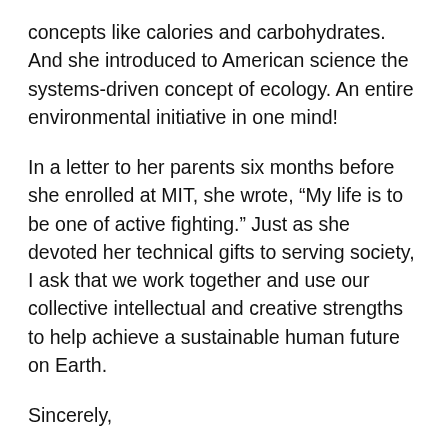concepts like calories and carbohydrates. And she introduced to American science the systems-driven concept of ecology. An entire environmental initiative in one mind!
In a letter to her parents six months before she enrolled at MIT, she wrote, “My life is to be one of active fighting.” Just as she devoted her technical gifts to serving society, I ask that we work together and use our collective intellectual and creative strengths to help achieve a sustainable human future on Earth.
Sincerely,
L. Rafael Reif